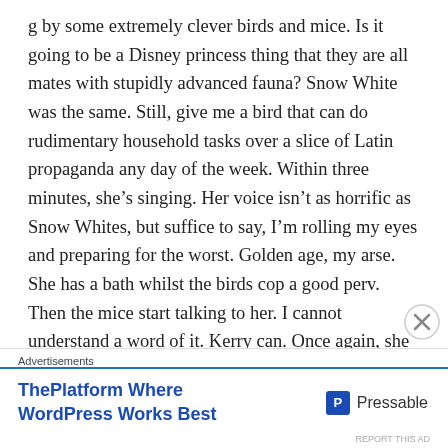g by some extremely clever birds and mice. Is it going to be a Disney princess thing that they are all mates with stupidly advanced fauna? Snow White was the same. Still, give me a bird that can do rudimentary household tasks over a slice of Latin propaganda any day of the week. Within three minutes, she's singing. Her voice isn't as horrific as Snow Whites, but suffice to say, I'm rolling my eyes and preparing for the worst. Golden age, my arse. She has a bath whilst the birds cop a good perv. Then the mice start talking to her. I cannot understand a word of it. Kerry can. Once again, she demonstrates she is fluent is Disnish, much like when Donald Ducks talks, and I'm lost at sea, so she translates for me. Ooh, I just thought; there will be no Donald-sodding-Duck in this film! Unless there's a highly unusual twist anyway. So that's a
Advertisements
ThePlatform Where WordPress Works Best
[Figure (logo): Pressable logo with blue P icon and text 'Pressable']
REPORT THIS AD